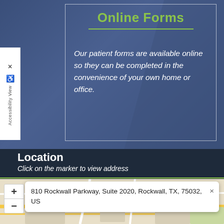Online Forms
Our patient forms are available online so they can be completed in the convenience of your own home or office.
Location
Click on the marker to view address
[Figure (map): Google map showing location with popup address: 810 Rockwall Parkway, Suite 2020, Rockwall, TX, 75032, US. Map shows Wells Fargo nearby and FM 740 road marker. Map has zoom in/out controls.]
810 Rockwall Parkway, Suite 2020, Rockwall, TX, 75032, US